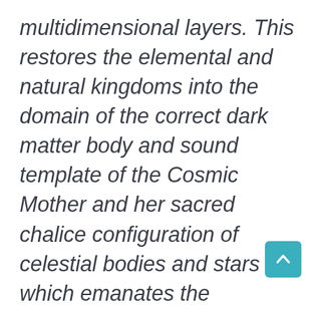multidimensional layers. This restores the elemental and natural kingdoms into the domain of the correct dark matter body and sound template of the Cosmic Mother and her sacred chalice configuration of celestial bodies and stars which emanates the authentic grail frequencies. This incredible manifestation of the Cosmic Mother within her Pillars of Cosmic Grace has not been welcomed by the Bl Dragon Avatar Collectives, which have hijacked many of her body